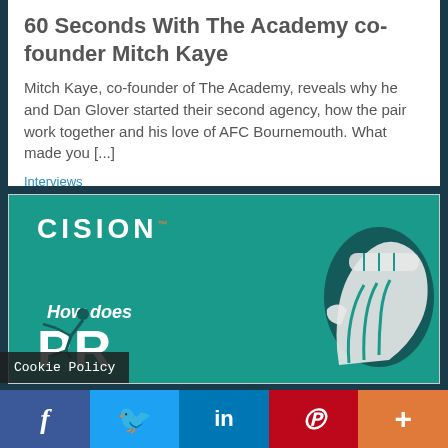60 Seconds With The Academy co-founder Mitch Kaye
Mitch Kaye, co-founder of The Academy, reveals why he and Dan Glover started their second agency, how the pair work together and his love of AFC Bournemouth. What made you [...]
Interviews
[Figure (illustration): Cision advertisement banner with teal background showing the Cision logo, text 'How does PR', a raised fist illustration, and a small pushing figure silhouette.]
Cookie Policy
Facebook | Twitter | LinkedIn | Pinterest | More